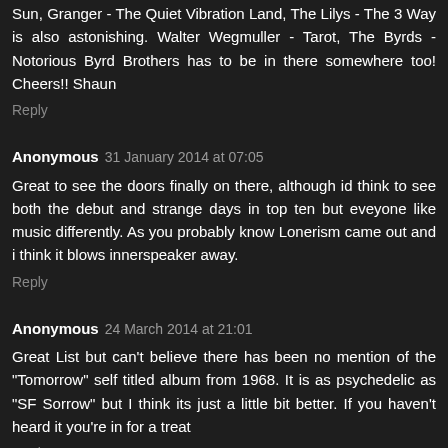Sun, Granger - The Quiet Vibration Land, The Lilys - The 3 Way is also astonishing. Walter Wegmuller - Tarot, The Byrds - Notorious Byrd Brothers has to be in there somewhere too! Cheers!! Shaun
Reply
Anonymous 31 January 2014 at 07:05
Great to see the doors finally on there, although id think to see both the debut and strange days in top ten but eveyone like music differently. As you probably know Lonerism came out and i think it blows innerspeaker away.
Reply
Anonymous 24 March 2014 at 21:01
Great List but can't believe there has been no mention of the "Tomorrow" self titled album from 1968. It is as psychedelic as "SF Sorrow" but I think its just a little bit better. If you haven't heard it you're in for a treat
Reply